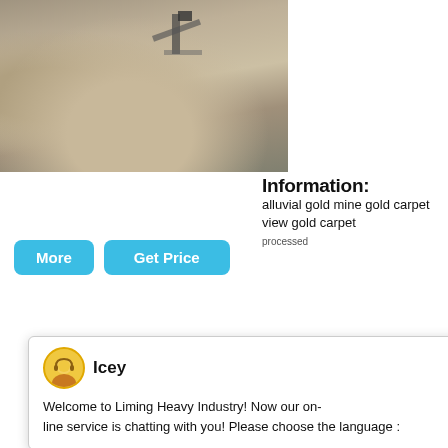[Figure (photo): Industrial sand/gravel pile with machinery conveyor belt, outdoor mining site]
Information:
alluvial gold mine gold carpet view gold carpet processed
primary are
More
Get Price
[Figure (screenshot): Live chat popup from Liming Heavy Industry website. Agent avatar icon named Icey. Message: Welcome to Liming Heavy Industry! Now our on-line service is chatting with you! Please choose the language :]
[Figure (photo): Heavy industrial crushing machinery and construction site with large equipment, columns and metal structures]
[Figure (photo): Right side partial view of industrial machine/grate panel with blue circular badge showing number 1]
Click me to chat>>
Enquiry
mumumugoods